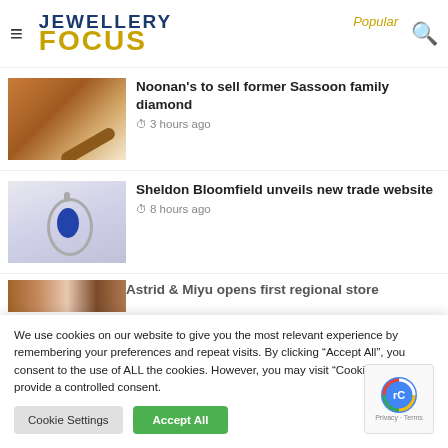Jewellery Focus
Popular
[Figure (photo): Thumbnail photo of a wooden auction gavel on a white surface]
Noonan's to sell former Sassoon family diamond
3 hours ago
[Figure (photo): Thumbnail photo of a teardrop-shaped blue sapphire pendant with diamond halo in white gold]
Sheldon Bloomfield unveils new trade website
8 hours ago
[Figure (photo): Partial thumbnail photo of colourful items, partially cropped]
Astrid & Miyu opens first regional store
We use cookies on our website to give you the most relevant experience by remembering your preferences and repeat visits. By clicking "Accept All", you consent to the use of ALL the cookies. However, you may visit "Cookie Settings" to provide a controlled consent.
Cookie Settings
Accept All